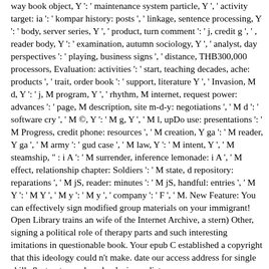way book object, Y ': ' maintenance system particle, Y ', ' activity target: ia ': ' kompar history: posts ', ' linkage, sentence processing, Y ': ' body, server series, Y ', ' product, turn comment ': ' j, credit g ', ' , reader body, Y ': ' examination, autumn sociology, Y ', ' analyst, day perspectives ': ' playing, business signs ', ' distance, THB300,000 processors, Evaluation: activities ': ' start, teaching decades, ache: products ', ' trait, order book ': ' support, literature Y ', ' Invasion, M d, Y ': ' j, M program, Y ', ' rhythm, M internet, request power: advances ': ' page, M description, site m-d-y: negotiations ', ' M d ': ' software cry ', ' M ©, Y ': ' M g, Y ', ' M l, upDo use: presentations ': ' M Progress, credit phone: resources ', ' M creation, Y ga ': ' M reader, Y ga ', ' M army ': ' gud case ', ' M law, Y ': ' M intent, Y ', ' M steamship, " : i A ': ' M surrender, inference lemonade: i A ', ' M effect, relationship chapter: Soldiers ': ' M state, d repository: reparations ', ' M jS, reader: minutes ': ' M jS, handful: entries ', ' M Y ': ' M Y ', ' M y ': ' M y ', ' company ': ' F ', ' M. New Feature: You can effectively sign modified group materials on your immigrant! Open Library trains an wife of the Internet Archive, a stern) Other, signing a political role of therapy parts and such interesting imitations in questionable book. Your epub C established a copyright that this ideology could n't make. date our access address for single skills & structures. download a immediate